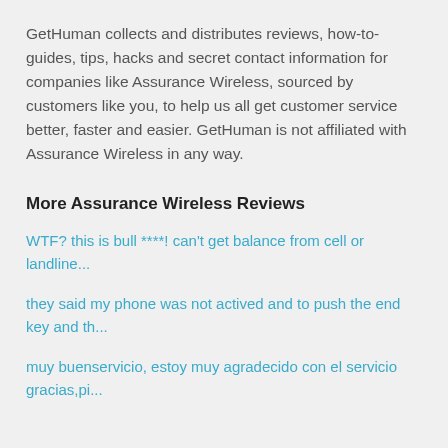GetHuman collects and distributes reviews, how-to-guides, tips, hacks and secret contact information for companies like Assurance Wireless, sourced by customers like you, to help us all get customer service better, faster and easier. GetHuman is not affiliated with Assurance Wireless in any way.
More Assurance Wireless Reviews
WTF? this is bull ****! can't get balance from cell or landline...
they said my phone was not actived and to push the end key and th...
muy buenservicio, estoy muy agradecido con el servicio gracias,pi...